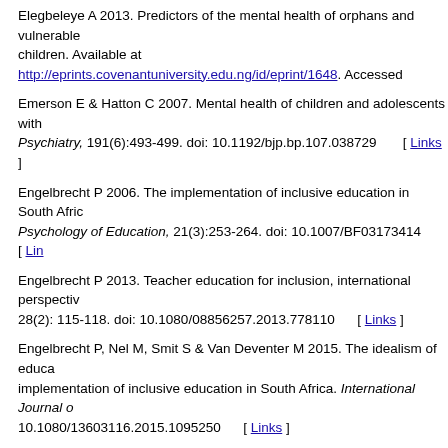Elegbeleye A 2013. Predictors of the mental health of orphans and vulnerable children. Available at http://eprints.covenantuniversity.edu.ng/id/eprint/1648. Accessed
Emerson E & Hatton C 2007. Mental health of children and adolescents with intellectual disabilities in Britain. British Journal of Psychiatry, 191(6):493-499. doi: 10.1192/bjp.bp.107.038729 [ Links ]
Engelbrecht P 2006. The implementation of inclusive education in South Africa after ten years of democracy. European Journal of Psychology of Education, 21(3):253-264. doi: 10.1007/BF03173414 [ Links ]
Engelbrecht P 2013. Teacher education for inclusion, international perspectives and local realities. 28(2): 115-118. doi: 10.1080/08856257.2013.778110 [ Links ]
Engelbrecht P, Nel M, Smit S & Van Deventer M 2015. The idealism of educating for diversity and the implementation of inclusive education in South Africa. International Journal of... doi: 10.1080/13603116.2015.1095250 [ Links ]
Flick U 2009. An introduction to qualitative research (4th ed). London, UK: Sa
Fourie CL & Theron LC 2012. Resilience in the face of Fragile X syndrome. doi: 10.1177/1049732312451871 [ Links ]
Geldenhuys JL & Wevers NEJ 2013. Ecological aspects influencing the implementation of inclusive education in primary schools in the Eastern Cape, South Africa. South African Journal of E... doi: 10.15700/201503070804 [ Links ]
Gillie C 2012. The green paper on special educational needs and disability. Available at http://researchbriefings.parliament.uk/ResearchBriefing/Summary/SN05917#
Gilmore L, Campbell M, Shochet I & Roberts C 2013. Resiliency profiles of children with intellectual disabilities and their typically developing peers. Psychology in the Schools, 50(10):1032-1043. doi: 10.100